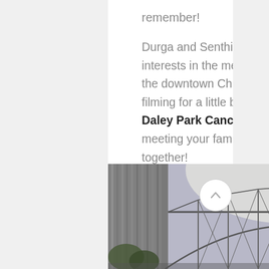remember!
Durga and Senthil have been dating for nine years! They share interests in the medical field. Durga's outfits and Senthil's baraat along the downtown Chicago streets were all memorable. We also enjoyed filming for a little bit near Chicago's Millennium Park at the Maggie Daley Park Cancer Survivor's Garden. Durga + Senthil, we enjoyed meeting your family and friends and wish you a lifetime of happiness together!
[Figure (photo): Photo of an architectural steel lattice structure with tall concrete pillars, viewed from below against a bright sky with trees, likely the Cancer Survivor's Garden at Maggie Daley Park in Chicago.]